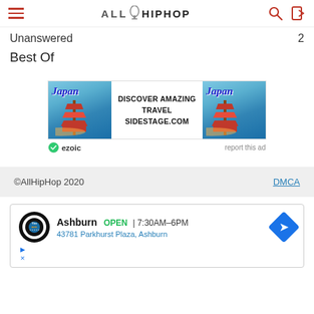AllHipHop
Unanswered  2
Best Of
[Figure (other): Japan travel advertisement banner with pagoda imagery. Text: DISCOVER AMAZING TRAVEL SIDESTAGE.COM. Ezoic badge. report this ad link.]
©AllHipHop 2020   DMCA
[Figure (other): Local ad for Tires auto shop in Ashburn. OPEN 7:30AM-6PM. 43781 Parkhurst Plaza, Ashburn. Directions button.]